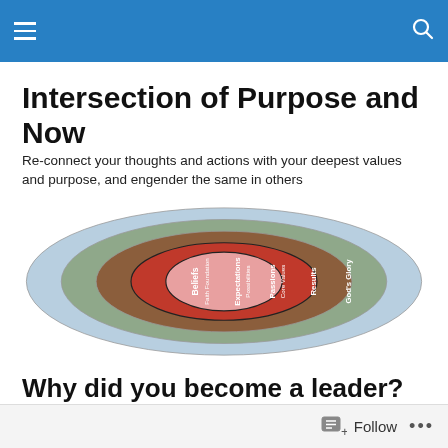Intersection of Purpose and Now
Re-connect your thoughts and actions with your deepest values and purpose, and engender the same in others
[Figure (infographic): Concentric circles diagram showing layers labeled from inside out: Beliefs / Faith Foundation (pink inner circle), Expectations / Possibilities (orange/red ring), Passions / Core Values (brown ring), Results (sage green ring), God's Glory (light blue outer ring)]
Why did you become a leader?
Follow ...